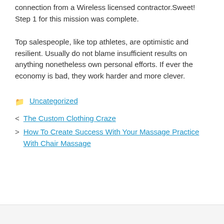connection from a Wireless licensed contractor.Sweet! Step 1 for this mission was complete.
Top salespeople, like top athletes, are optimistic and resilient. Usually do not blame insufficient results on anything nonetheless own personal efforts. If ever the economy is bad, they work harder and more clever.
Uncategorized
The Custom Clothing Craze
How To Create Success With Your Massage Practice With Chair Massage